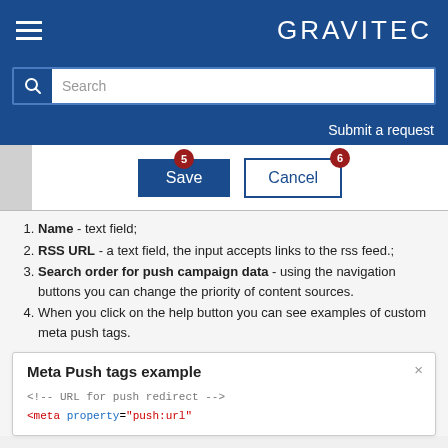GRAVITEC
[Figure (screenshot): Search bar with magnifying glass icon and placeholder text 'Search']
Submit a request
[Figure (screenshot): UI screenshot showing Save (badge 5) and Cancel (badge 6) buttons]
Name - text field;
RSS URL - a text field, the input accepts links to the rss feed.;
Search order for push campaign data - using the navigation buttons you can change the priority of content sources.
When you click on the help button you can see examples of custom meta push tags.
Meta Push tags example
<!-- URL for push redirect -->
<meta property="push:url"